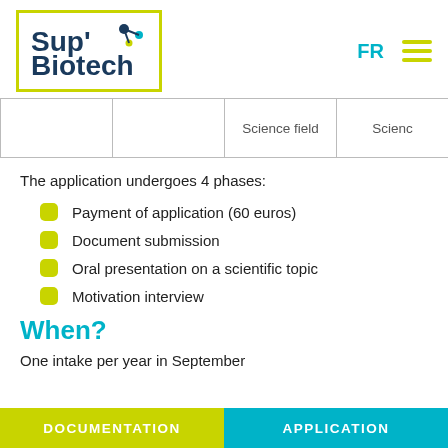[Figure (logo): Sup'Biotech logo with yellow-green border, dark blue text and molecular icon]
|  |  | Science field | Scienc… |
| --- | --- | --- | --- |
|  |  |  |  |
The application undergoes 4 phases:
Payment of application (60 euros)
Document submission
Oral presentation on a scientific topic
Motivation interview
When?
One intake per year in September
DOCUMENTATION   APPLICATION